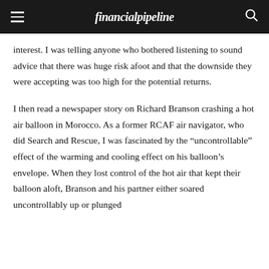financial pipeline
interest. I was telling anyone who bothered listening to sound advice that there was huge risk afoot and that the downside they were accepting was too high for the potential returns.
I then read a newspaper story on Richard Branson crashing a hot air balloon in Morocco. As a former RCAF air navigator, who did Search and Rescue, I was fascinated by the “uncontrollable” effect of the warming and cooling effect on his balloon’s envelope. When they lost control of the hot air that kept their balloon aloft, Branson and his partner either soared uncontrollably up or plunged dangerously losing altitude over the Atlas Mountains.